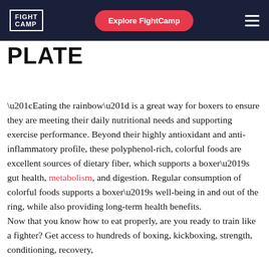FIGHT CAMP | Explore FightCamp
PLATE
“Eating the rainbow” is a great way for boxers to ensure they are meeting their daily nutritional needs and supporting exercise performance. Beyond their highly antioxidant and anti-inflammatory profile, these polyphenol-rich, colorful foods are excellent sources of dietary fiber, which supports a boxer’s gut health, metabolism, and digestion. Regular consumption of colorful foods supports a boxer’s well-being in and out of the ring, while also providing long-term health benefits.
Now that you know how to eat properly, are you ready to train like a fighter? Get access to hundreds of boxing, kickboxing, strength, conditioning, recovery,